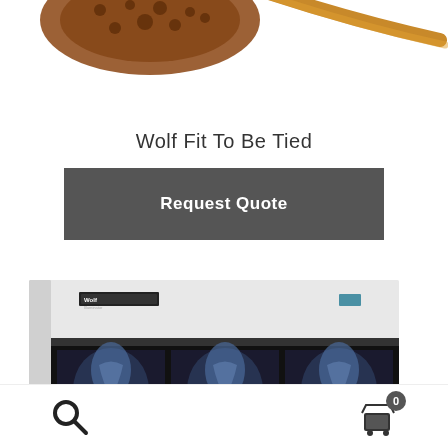[Figure (photo): Partial image of Wolf branded eyeglasses/glasses with decorative brown patterned frame visible at top of page, cropped]
Wolf Fit To Be Tied
Request Quote
[Figure (photo): Wolf brand medical x-ray viewer/lightbox machine showing knee x-ray images displayed in the viewer tray, white cabinet body]
Search icon and shopping cart icon with badge showing 0 items